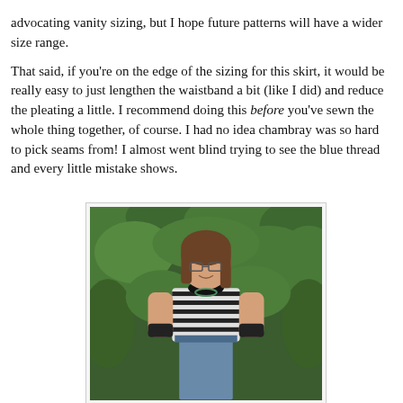advocating vanity sizing, but I hope future patterns will have a wider size range.
That said, if you're on the edge of the sizing for this skirt, it would be really easy to just lengthen the waistband a bit (like I did) and reduce the pleating a little. I recommend doing this before you've sewn the whole thing together, of course. I had no idea chambray was so hard to pick seams from! I almost went blind trying to see the blue thread and every little mistake shows.
[Figure (photo): A woman with glasses and long brown hair wearing a striped black and white t-shirt and a blue chambray skirt, standing in front of green leafy foliage.]